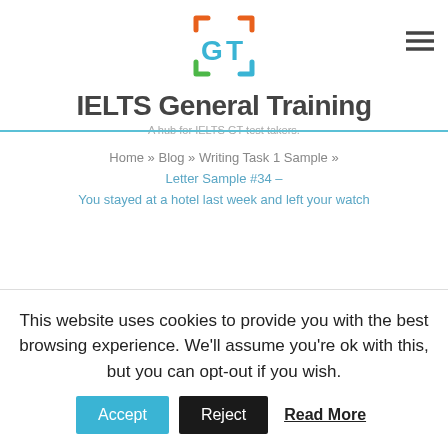[Figure (logo): GT logo with colored bracket squares around the letters G and T]
IELTS General Training
A hub for IELTS GT test takers.
Home » Blog » Writing Task 1 Sample » Letter Sample #34 – You stayed at a hotel last week and left your watch
This website uses cookies to provide you with the best browsing experience. We'll assume you're ok with this, but you can opt-out if you wish. Accept Reject Read More